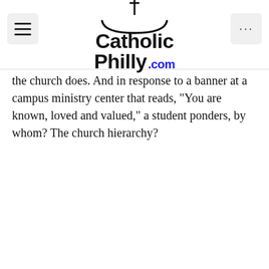CatholicPhilly.com
the church does. And in response to a banner at a campus ministry center that reads, “You are known, loved and valued,” a student ponders, by whom? The church hierarchy?